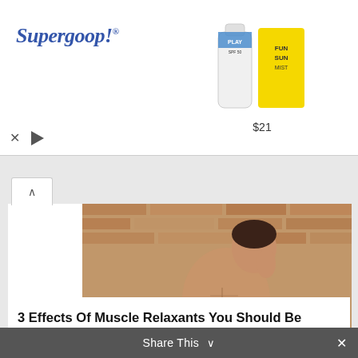[Figure (advertisement): Supergoop! brand advertisement banner with logo on left and product images (PLAY sunscreen bottle and FUN SUN box) on right priced at $21]
[Figure (photo): Athletic muscular man sitting on floor against brick wall, shirtless, wearing dark shorts, hand raised to chin in thoughtful pose]
3 Effects Of Muscle Relaxants You Should Be Aware Of Before Using
20th September 2021
Share This